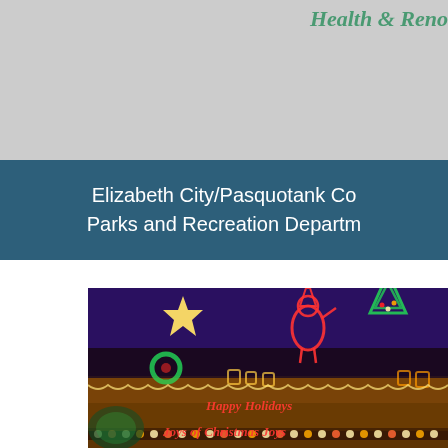Health & Reno...
Elizabeth City/Pasquotank Co Parks and Recreation Departm
[Figure (photo): Night-time photo of a building or outdoor display heavily decorated with colorful Christmas lights, including a glowing star, Santa Claus figure, Christmas trees, gift boxes, and neon signs reading 'Happy Holidays' and 'Joys of Christmas Joys'.]